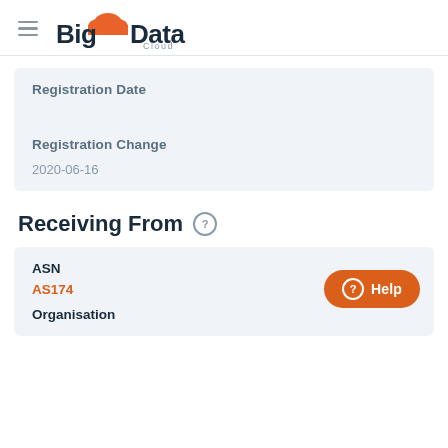BigData Cloud
Registration Date
Registration Change
2020-06-16
Receiving From
ASN
AS174
Organisation
Help